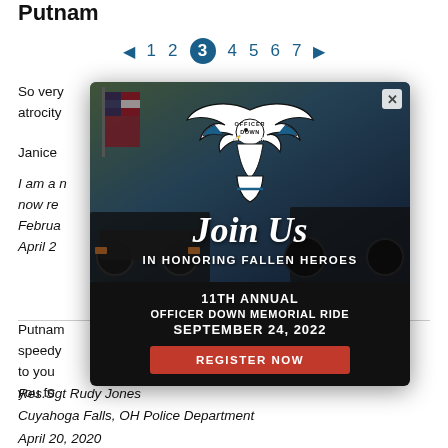Putnam
1 2 3 4 5 6 7
So very [content obscured] of this atrocity [content obscured] cers.
Janice [content obscured]
I am a n[content obscured] and now re[content obscured] olina, Februa[content obscured] April 2[content obscured]
Putnam [content obscured] with a speedy [content obscured] Service to you[content obscured] ank you fo[content obscured]
[Figure (other): Officer Down Memorial Ride popup/modal ad. Shows eagle logo with banner reading 'OFFICER DOWN MEMORIAL RIDE'. Text: 'Join Us IN HONORING FALLEN HEROES / 11TH ANNUAL / OFFICER DOWN MEMORIAL RIDE / SEPTEMBER 24, 2022' with a red REGISTER NOW button. Background shows motorcycles and American flag.]
Res.Sgt Rudy Jones
Cuyahoga Falls, OH Police Department
April 20, 2020